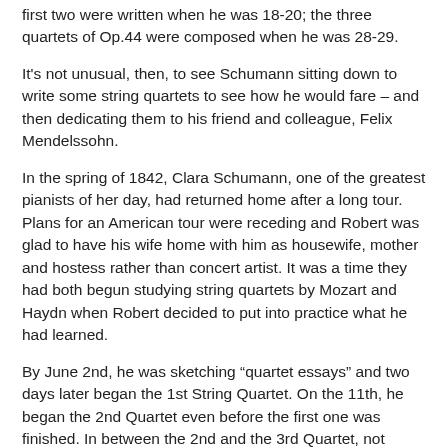first two were written when he was 18-20; the three quartets of Op.44 were composed when he was 28-29.
It's not unusual, then, to see Schumann sitting down to write some string quartets to see how he would fare – and then dedicating them to his friend and colleague, Felix Mendelssohn.
In the spring of 1842, Clara Schumann, one of the greatest pianists of her day, had returned home after a long tour. Plans for an American tour were receding and Robert was glad to have his wife home with him as housewife, mother and hostess rather than concert artist. It was a time they had both begun studying string quartets by Mozart and Haydn when Robert decided to put into practice what he had learned.
By June 2nd, he was sketching “quartet essays” and two days later began the 1st String Quartet. On the 11th, he began the 2nd Quartet even before the first one was finished. In between the 2nd and the 3rd Quartet, not begun until July 8th, he wrote a scathing article about Clara’s ex-